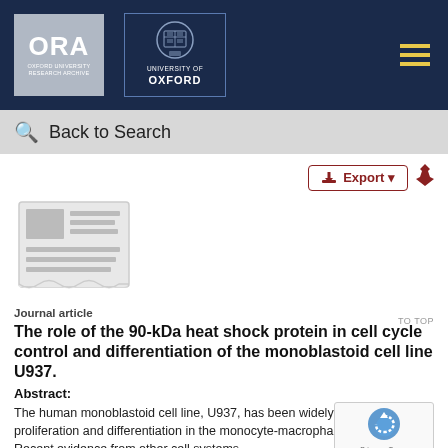[Figure (logo): ORA Oxford University Research Archive logo and University of Oxford crest logo on dark navy header bar with hamburger menu icon]
Back to Search
[Figure (illustration): Generic journal article icon - grey newspaper/document thumbnail]
Journal article
The role of the 90-kDa heat shock protein in cell cycle control and differentiation of the monoblastoid cell line U937.
Abstract:
The human monoblastoid cell line, U937, has been widely study proliferation and differentiation in the monocyte-macrophage lineage. Recent evidence from other cell systems